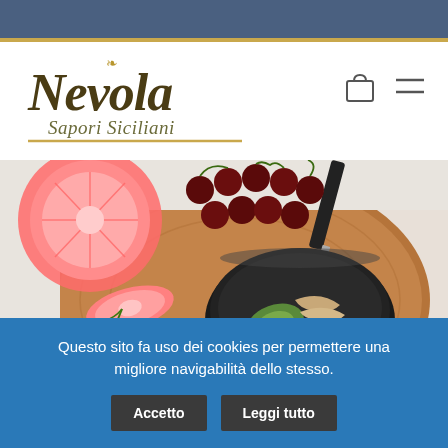[Figure (logo): Nevola Sapori Siciliani logo in dark olive/gold script font with a small bird/accent above the V]
[Figure (photo): Overhead food photo showing a wooden cutting board with grapefruit slices, cherries, cherry tomatoes, a black bowl with tuna/avocado/egg salad, and a knife on a light background]
Questo sito fa uso dei cookies per permettere una migliore navigabilità dello stesso.
Accetto
Leggi tutto